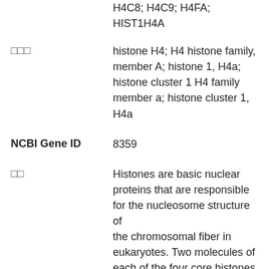H4C8; H4C9; H4FA; HIST1H4A
histone H4; H4 histone family, member A; histone 1, H4a; histone cluster 1 H4 family member a; histone cluster 1, H4a
NCBI Gene ID
8359
Histones are basic nuclear proteins that are responsible for the nucleosome structure of the chromosomal fiber in eukaryotes. Two molecules of each of the four core histones (H2A, H2B, H3, and H4) form an octamer, around which approximately 146 bp of DNA